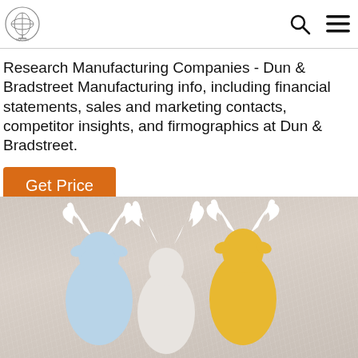Research Manufacturing Companies - Dun & Bradstreet Manufacturing info, including financial statements, sales and marketing contacts, competitor insights, and firmographics at Dun & Bradstreet.
Get Price
[Figure (photo): Photo of small toy deer/reindeer figurines (blue and yellow/gold colored) with white antlers on a fuzzy beige/cream fur-like background, cropped so only the tops of the figurines and background are visible.]